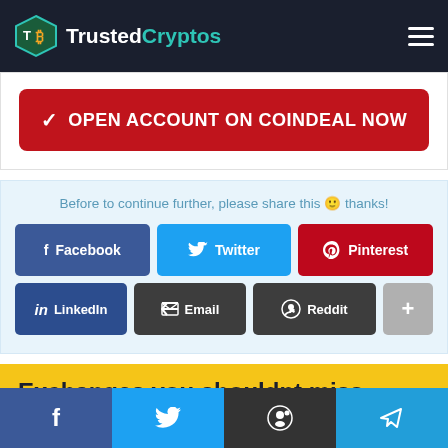TrustedCryptos
✔ OPEN ACCOUNT ON COINDEAL NOW
Before to continue further, please share this 🙂 thanks!
Facebook
Twitter
Pinterest
LinkedIn
Email
Reddit
Exchanges you shouldnt miss